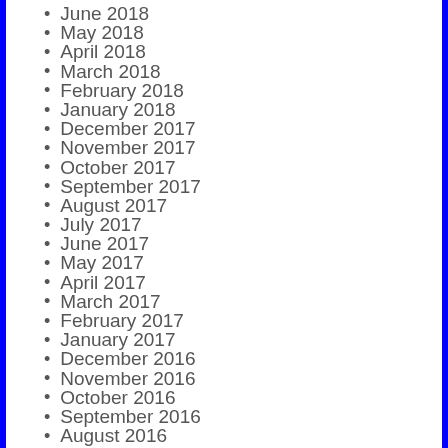June 2018
May 2018
April 2018
March 2018
February 2018
January 2018
December 2017
November 2017
October 2017
September 2017
August 2017
July 2017
June 2017
May 2017
April 2017
March 2017
February 2017
January 2017
December 2016
November 2016
October 2016
September 2016
August 2016